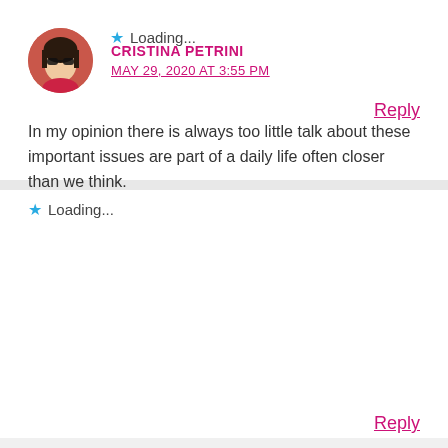Loading...
Reply
CRISTINA PETRINI
MAY 29, 2020 AT 3:55 PM
In my opinion there is always too little talk about these important issues are part of a daily life often closer than we think.
Loading...
Reply